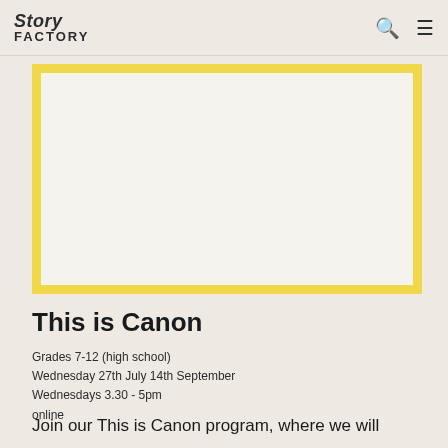Story FACTORY
[Figure (illustration): Yellow-bordered rectangular image placeholder with light cream interior, representing a program image for This is Canon.]
This is Canon
Grades 7-12 (high school)
Wednesday 27th July 14th September
Wednesdays 3.30 - 5pm
online
Join our This is Canon program, where we will